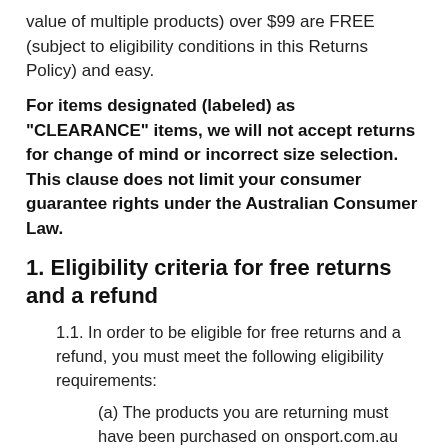value of multiple products) over $99 are FREE (subject to eligibility conditions in this Returns Policy) and easy.
For items designated (labeled) as "CLEARANCE" items, we will not accept returns for change of mind or incorrect size selection. This clause does not limit your consumer guarantee rights under the Australian Consumer Law.
1. Eligibility criteria for free returns and a refund
1.1. In order to be eligible for free returns and a refund, you must meet the following eligibility requirements:
(a) The products you are returning must have been purchased on onsport.com.au and